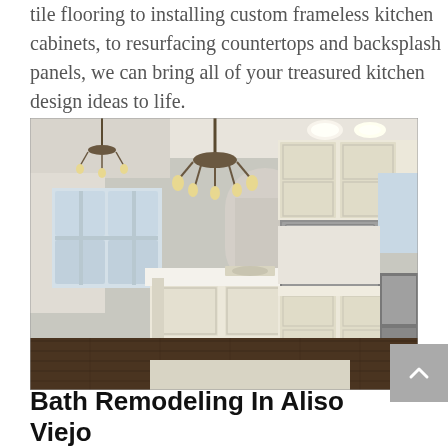tile flooring to installing custom frameless kitchen cabinets, to resurfacing countertops and backsplash panels, we can bring all of your treasured kitchen design ideas to life.
[Figure (photo): Interior photo of a large, elegant kitchen with cream-colored frameless cabinets, a large center island with white countertop, dark hardwood floors, stainless steel appliances, and a decorative chandelier.]
Bath Remodeling In Aliso Viejo